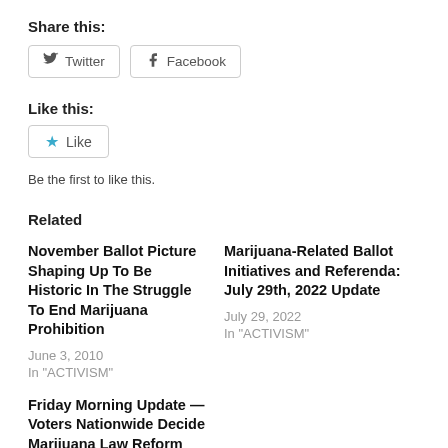Share this:
[Figure (other): Twitter and Facebook share buttons]
Like this:
[Figure (other): Like button with star icon]
Be the first to like this.
Related
November Ballot Picture Shaping Up To Be Historic In The Struggle To End Marijuana Prohibition
June 3, 2010
In "ACTIVISM"
Marijuana-Related Ballot Initiatives and Referenda: July 29th, 2022 Update
July 29, 2022
In "ACTIVISM"
Friday Morning Update — Voters Nationwide Decide Marijuana Law Reform